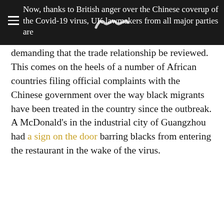Now, thanks to British anger over the Chinese coverup of the Covid-19 virus, UK lawmakers from all major parties are
demanding that the trade relationship be reviewed. This comes on the heels of a number of African countries filing official complaints with the Chinese government over the way black migrants have been treated in the country since the outbreak. A McDonald's in the industrial city of Guangzhou had a sign on the door barring blacks from entering the restaurant in the wake of the virus.
US/
China
Making good on part of the phase one of trade deal, China halves tariffs on $75 billion worth of US products. (10 Feb 2020) Upholding its end of the bargain, China has announced that it will cut in half the tariffs imposed on $75